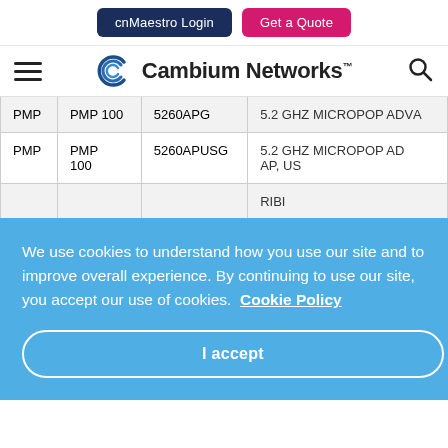cnMaestro Login | Get a Quote
[Figure (logo): Cambium Networks logo with hamburger menu and search icon]
|  |  |  |  |
| --- | --- | --- | --- |
| PMP | PMP 100 | 5260APG | 5.2 GHZ MICROPOP ADVA... |
| PMP | PMP 100 | 5260APUSG | 5.2 GHZ MICROPOP AD AP, US |
|  |  |  | ...RIBI... |
|  |  |  | ...T... |
|  |  |  | ..., 2... |
|  |  |  | ..., 4I... |
We use cookies to understand how you use our site and to improve overall experience. By continuing to use our site, you accept our use of cookies. Cookie Policy
I accept